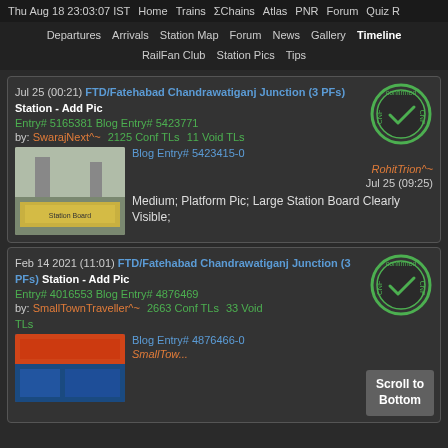Thu Aug 18 23:03:07 IST  Home  Trains  ΣChains  Atlas  PNR  Forum  Quiz R
Departures  Arrivals  Station Map  Forum  News  Gallery  Timeline  RailFan Club  Station Pics  Tips
Jul 25 (00:21) FTD/Fatehabad Chandrawatiganj Junction (3 PFs) Station - Add Pic Entry# 5165381  Blog Entry# 5423771 by: SwarajNext^~  2125 Conf TLs  11 Void TLs
[Figure (photo): Station board photo at Fatehabad Chandrawatiganj Junction]
Blog Entry# 5423415-0  RohitTrion^~  Jul 25 (09:25)  Medium; Platform Pic; Large Station Board Clearly Visible;
Feb 14 2021 (11:01) FTD/Fatehabad Chandrawatiganj Junction (3 PFs) Station - Add Pic Entry# 4016553  Blog Entry# 4876469 by: SmallTownTraveller^~  2663 Conf TLs  33 Void TLs
[Figure (photo): Station photo at Fatehabad Chandrawatiganj Junction 2021]
Blog Entry# 4876466-0  SmallTow...